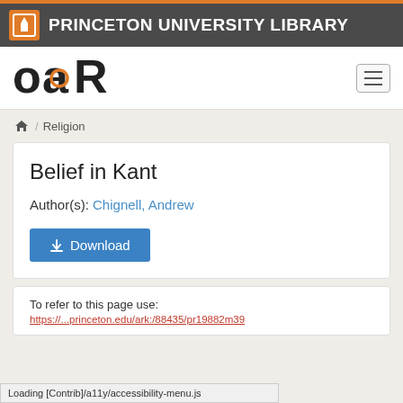PRINCETON UNIVERSITY LIBRARY
[Figure (logo): OAR open access repository logo with orange circle and letter R]
/ Religion
Belief in Kant
Author(s): Chignell, Andrew
Download
To refer to this page use:
https://...princeton.edu/ark:/88435/pr19882m39
Loading [Contrib]/a11y/accessibility-menu.js